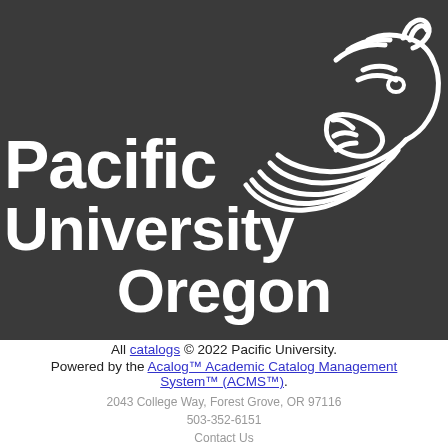[Figure (logo): Pacific University Oregon logo: white text 'Pacific University Oregon' on dark charcoal background with white stylized boxer/lion head mascot graphic in upper right]
All catalogs © 2022 Pacific University. Powered by the Acalog™ Academic Catalog Management System™ (ACMS™).
2043 College Way, Forest Grove, OR 97116
503-352-6151
Contact Us